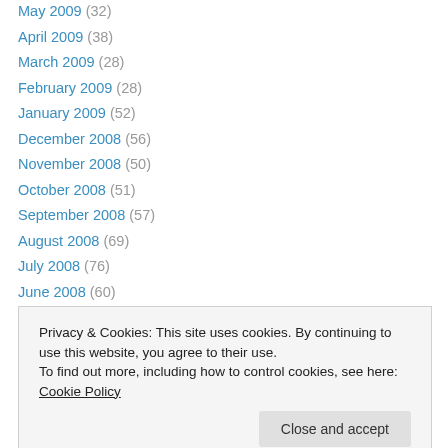May 2009 (32)
April 2009 (38)
March 2009 (28)
February 2009 (28)
January 2009 (52)
December 2008 (56)
November 2008 (50)
October 2008 (51)
September 2008 (57)
August 2008 (69)
July 2008 (76)
June 2008 (60)
May 2008 (61)
Privacy & Cookies: This site uses cookies. By continuing to use this website, you agree to their use. To find out more, including how to control cookies, see here: Cookie Policy